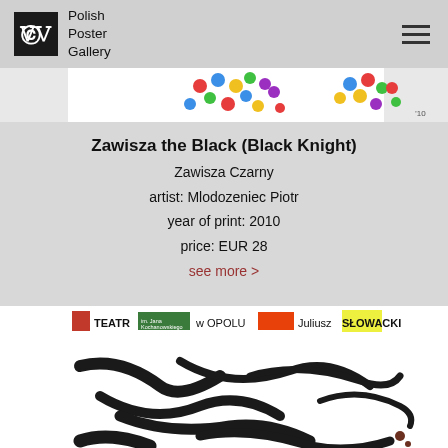Polish Poster Gallery
[Figure (photo): Top portion of a colorful dotted pattern poster, cropped — shows multicolored polka dots on white background, partially visible]
Zawisza the Black (Black Knight)
Zawisza Czarny
artist: Mlodozeniec Piotr
year of print: 2010
price: EUR 28
see more >
[Figure (photo): Bottom portion of a theater poster for 'Zawisza Czarny' — features bold black brushstroke calligraphy on white background with a header bar reading TEATR im. Jana Kochanowskiego w OPOLU Juliusz SŁOWACKI in various colors (red rectangle, green rectangle, yellow highlight)]